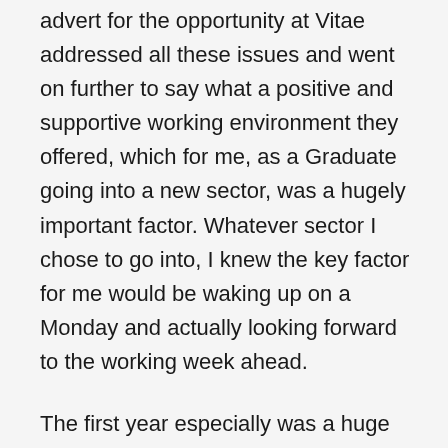advert for the opportunity at Vitae addressed all these issues and went on further to say what a positive and supportive working environment they offered, which for me, as a Graduate going into a new sector, was a hugely important factor. Whatever sector I chose to go into, I knew the key factor for me would be waking up on a Monday and actually looking forward to the working week ahead.
The first year especially was a huge learning curve, but the level of training and exposure to the entire consultative process meant my confidence grew quickly and my Directors and Colleagues worked with me to develop my skills and identify my strengths. In 3 years I've worked my way up to